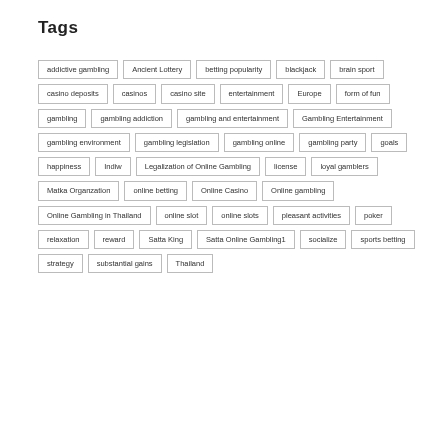Tags
addictive gambling
Ancient Lottery
betting popularity
blackjack
brain sport
casino deposits
casinos
casino site
entertainment
Europe
form of fun
gambling
gambling addiction
gambling and entertainment
Gambling Entertainment
gambling environment
gambling legislation
gambling online
gambling party
goals
happiness
Indiw
Legalization of Online Gambling
license
loyal gamblers
Matka Organzation
online betting
Online Casino
Online gambling
Online Gambling in Thailand
online slot
online slots
pleasant activities
poker
relaxation
reward
Satta King
Satta Online Gambling1
socialize
sports betting
strategy
substantial gains
Thailand